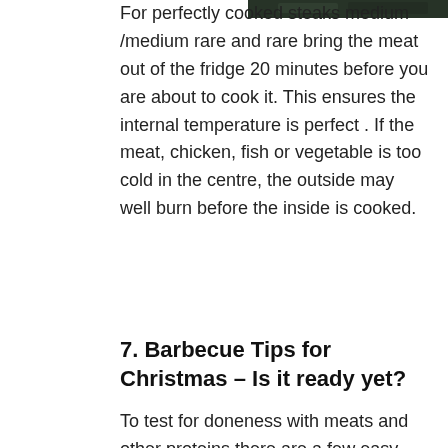[Figure (photo): A dark photograph of meat/barbecue, partially visible at the top right corner of the page.]
For perfectly cooked steaks medium /medium rare and rare bring the meat out of the fridge 20 minutes before you are about to cook it. This ensures the internal temperature is perfect . If the meat, chicken, fish or vegetable is too cold in the centre, the outside may well burn before the inside is cooked.
7. Barbecue Tips for Christmas – Is it ready yet?
To test for doneness with meats and other proteins there are a few easy tricks. For steaks and meat on the bone, using a small sharp